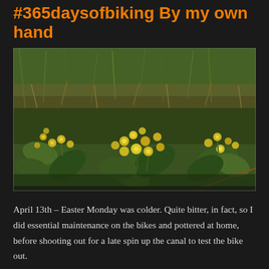#365daysofbiking By my own hand
[Figure (photo): Photograph of yellow cowslip flowers in bloom among green grass and vegetation at Claybanger Common]
April 13th – Easter Monday was colder. Quite bitter, in fact, so I did essential maintenance on the bikes and pottered at home, before shooting out for a late spin up the canal to test the bike out.
At Claybanger Common the cowslips are fully in bloom now